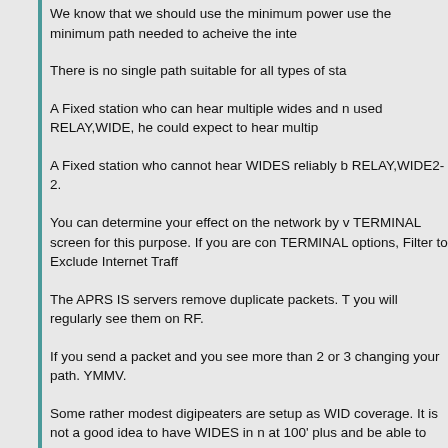We know that we should use the minimum power use the minimum path needed to acheive the inte...
There is no single path suitable for all types of sta...
A Fixed station who can hear multiple wides and n... used RELAY,WIDE, he could expect to hear multip...
A Fixed station who cannot hear WIDES reliably b... RELAY,WIDE2-2.
You can determine your effect on the network by v... TERMINAL screen for this purpose. If you are con... TERMINAL options, Filter to Exclude Internet Traff...
The APRS IS servers remove duplicate packets. T... you will regularly see them on RF.
If you send a packet and you see more than 2 or 3... changing your path. YMMV.
Some rather modest digipeaters are setup as WID... coverage. It is not a good idea to have WIDES in n... at 100' plus and be able to hear a few other WIDE...